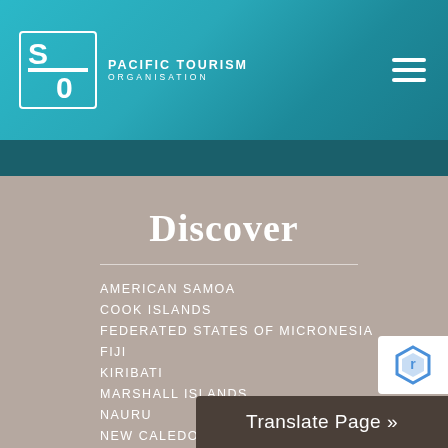PACIFIC TOURISM ORGANISATION
Discover
AMERICAN SAMOA
COOK ISLANDS
FEDERATED STATES OF MICRONESIA
FIJI
KIRIBATI
MARSHALL ISLANDS
NAURU
NEW CALEDONIA